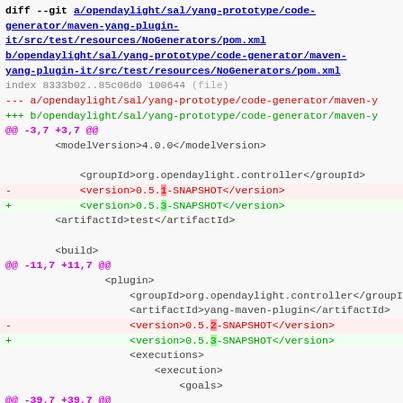diff --git a/opendaylight/sal/yang-prototype/code-generator/maven-yang-plugin-it/src/test/resources/NoGenerators/pom.xml b/opendaylight/sal/yang-prototype/code-generator/maven-yang-plugin-it/src/test/resources/NoGenerators/pom.xml
index 8333b02..85c06d0 100644 (file)
--- a/opendaylight/sal/yang-prototype/code-generator/maven-y
+++ b/opendaylight/sal/yang-prototype/code-generator/maven-y
@@ -3,7 +3,7 @@
<modelVersion>4.0.0</modelVersion>
<groupId>org.opendaylight.controller</groupId>
-           <version>0.5.1-SNAPSHOT</version>
+           <version>0.5.3-SNAPSHOT</version>
<artifactId>test</artifactId>
<build>
@@ -11,7 +11,7 @@
<plugin>
<groupId>org.opendaylight.controller</groupId>
<artifactId>yang-maven-plugin</artifactId>
-                   <version>0.5.2-SNAPSHOT</version>
+                   <version>0.5.3-SNAPSHOT</version>
<executions>
<execution>
<goals>
@@ -39,7 +39,7 @@
<dependency>
<groupId>org.opendaylight.controlle
<artifactId>yang-maven-plugin-spi</
-                       <version>0.5.2-SNAPSHOT</version>